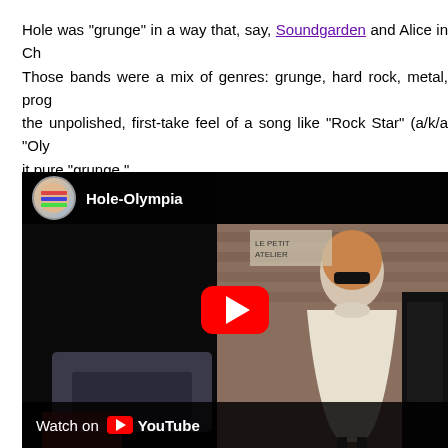Hole was "grunge" in a way that, say, Soundgarden and Alice in Ch... Those bands were a mix of genres: grunge, hard rock, metal, prog... the unpolished, first-take feel of a song like "Rock Star" (a/k/a "Oly... it pure "grunge."
[Figure (screenshot): YouTube video embed thumbnail for 'Hole-Olympia' showing a woman in white dress with sunglasses, YouTube play button overlay, Watch on YouTube bar at bottom]